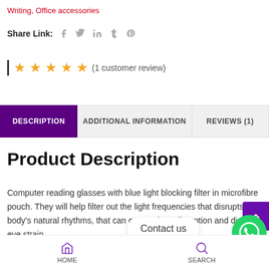Writing, Office accessories
Share Link:
★★★★★ (1 customer review)
DESCRIPTION | ADDITIONAL INFORMATION | REVIEWS (1)
Product Description
Computer reading glasses with blue light blocking filter in microfibre pouch. They will help filter out the light frequencies that disrupts our body's natural rhythms, that can cause sleep disruption and digital eye strain.
Contact us
HOME  SEARCH